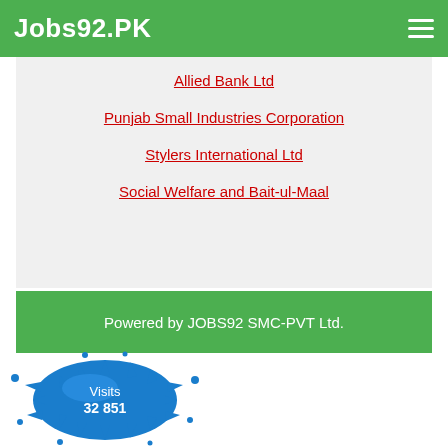Jobs92.PK
Allied Bank Ltd
Punjab Small Industries Corporation
Stylers International Ltd
Social Welfare and Bait-ul-Maal
Powered by JOBS92 SMC-PVT Ltd.
[Figure (infographic): Blue ink splash/splat graphic with text 'Visits 32 851' inside]